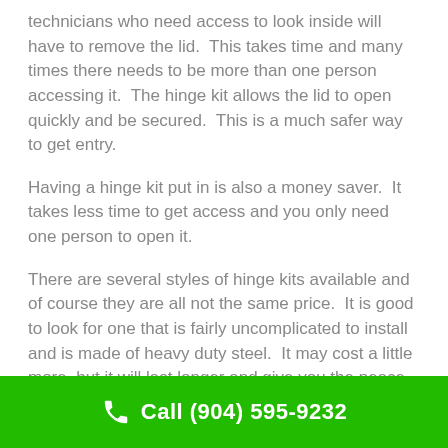technicians who need access to look inside will have to remove the lid.  This takes time and many times there needs to be more than one person accessing it.  The hinge kit allows the lid to open quickly and be secured.  This is a much safer way to get entry.
Having a hinge kit put in is also a money saver.  It takes less time to get access and you only need one person to open it.
There are several styles of hinge kits available and of course they are all not the same price.  It is good to look for one that is fairly uncomplicated to install and is made of heavy duty steel.  It may cost a little more, but it will last longer and give you the peace of mind
Call (904) 595-9232